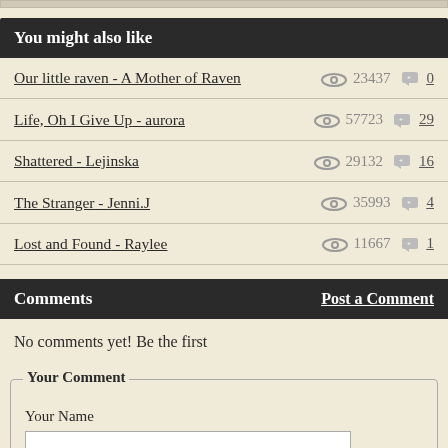You might also like
Our little raven - A Mother of Raven   23437   0
Life, Oh I Give Up - aurora   57723   29
Shattered - Lejinska   29132   16
The Stranger - Jenni.J   35993   4
Lost and Found - Raylee   11667   1
Comments   Post a Comment
No comments yet! Be the first
Your Comment
Your Name